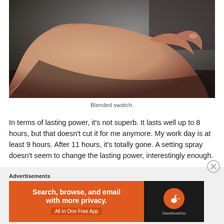[Figure (photo): Close-up photo of a human hand/wrist showing skin, photographed from above against a dark blurred background. The hand appears to show a makeup swatch blended on the skin.]
Blended swatch.
In terms of lasting power, it's not superb. It lasts well up to 8 hours, but that doesn't cut it for me anymore. My work day is at least 9 hours. After 11 hours, it's totally gone. A setting spray doesn't seem to change the lasting power, interestingly enough.
Advertisements
[Figure (screenshot): DuckDuckGo advertisement banner with orange background on left showing 'Search, browse, and email with more privacy. All in One Free App' and dark background on right with DuckDuckGo duck logo and brand name.]